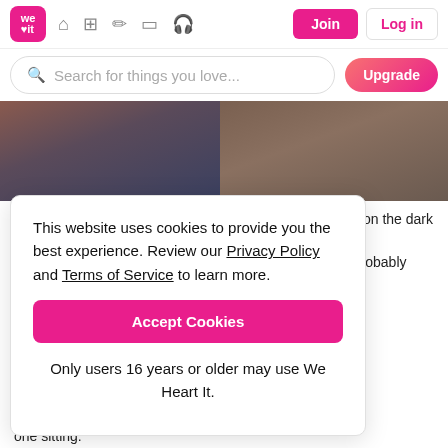We Heart It navigation bar with logo, icons, Join and Log in buttons
Search for things you love...
[Figure (photo): Partial photo showing two people from waist down, dark background]
This show has no fantasy or sci fi aspects in it. It's more on the dark comedy side. When you watch the trailer for the first time you'll probably think, "omg this ... as the show went on, he ... o star crossed lovers. The ... acters. Like her mind is so ... t we will see that she's not ... et but angsty at the same ... about 20-30 minutes long ... one sitting.
This website uses cookies to provide you the best experience. Review our Privacy Policy and Terms of Service to learn more.
Accept Cookies
Only users 16 years or older may use We Heart It.
te TV shows. I noticed one more thing about my fav TV shows, not only that they have nerdy tone in it, but most of them has british accents in it. It's insane. Thanks for reading, I'll